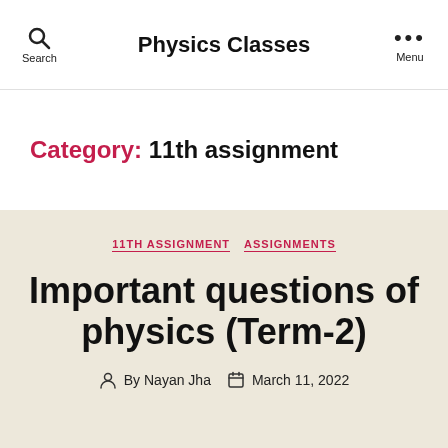Physics Classes
Category: 11th assignment
11TH ASSIGNMENT   ASSIGNMENTS
Important questions of physics (Term-2)
By Nayan Jha   March 11, 2022